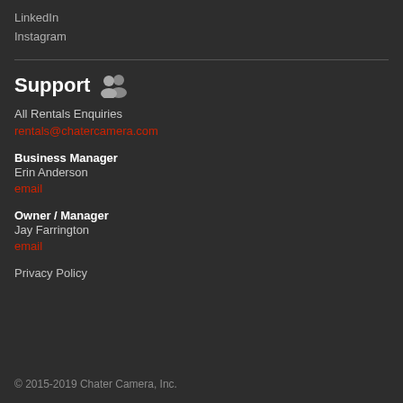LinkedIn
Instagram
Support
All Rentals Enquiries
rentals@chatercamera.com
Business Manager
Erin Anderson
email
Owner / Manager
Jay Farrington
email
Privacy Policy
© 2015-2019 Chater Camera, Inc.